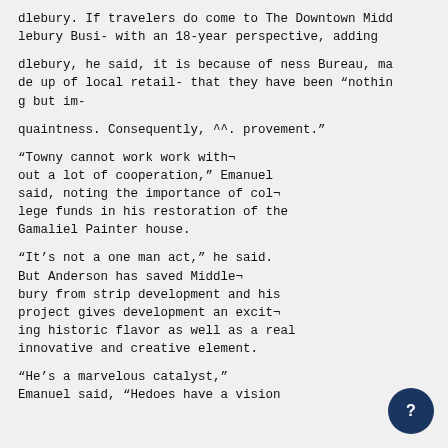dlebury. If travelers do come to The Downtown Midd lebury Busi- with an 18-year perspective, adding
dlebury, he said, it is because of ness Bureau, ma de up of local retail- that they have been “nothin g but im-
quaintness. Consequently, ^^. provement.”
“Towny cannot work work with¬ out a lot of cooperation,” Emanuel said, noting the importance of col¬ lege funds in his restoration of the Gamaliel Painter house.
“It’s not a one man act,” he said. But Anderson has saved Middle¬ bury from strip development and his project gives development an excit¬ ing historic flavor as well as a real innovative and creative element.
“He’s a marvelous catalyst,” Emanuel said, “Hedoes have a vision